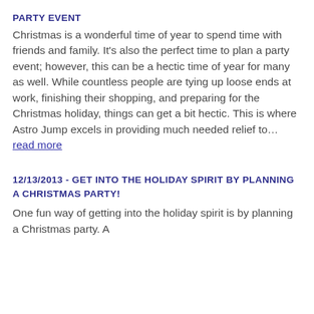PARTY EVENT
Christmas is a wonderful time of year to spend time with friends and family. It's also the perfect time to plan a party event; however, this can be a hectic time of year for many as well. While countless people are tying up loose ends at work, finishing their shopping, and preparing for the Christmas holiday, things can get a bit hectic. This is where Astro Jump excels in providing much needed relief to… read more
12/13/2013 - GET INTO THE HOLIDAY SPIRIT BY PLANNING A CHRISTMAS PARTY!
One fun way of getting into the holiday spirit is by planning a Christmas party. A